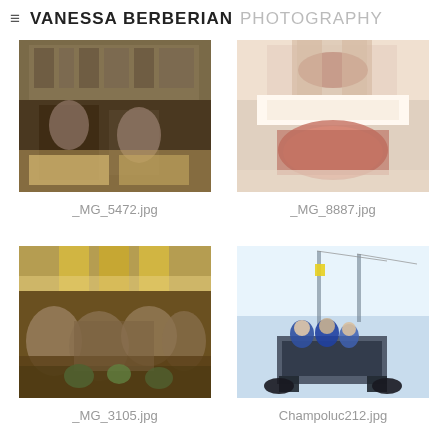≡ VANESSA BERBERIAN PHOTOGRAPHY
[Figure (photo): People at a food market/restaurant counter with goods displayed on shelves]
_MG_5472.jpg
[Figure (photo): Close-up of a butcher cutting a piece of meat on a white cutting board]
_MG_8887.jpg
[Figure (photo): Outdoor restaurant/cafe terrace scene with people dining under umbrellas]
_MG_3105.jpg
[Figure (photo): People riding a snowmobile on a snowy slope with a ski lift in the background]
Champoluc212.jpg